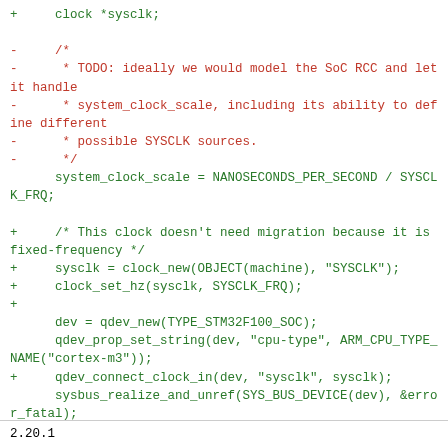Code diff showing clock and device initialization changes in STM32F100 SoC machine code
2.20.1